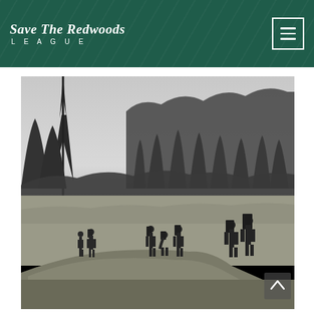Save The Redwoods League
[Figure (photo): Black and white vintage photograph of a group of hikers with backpacks standing on a trail in an open meadow. Dense redwood forest covers the hillside in the background. The scene appears to be from mid-20th century.]